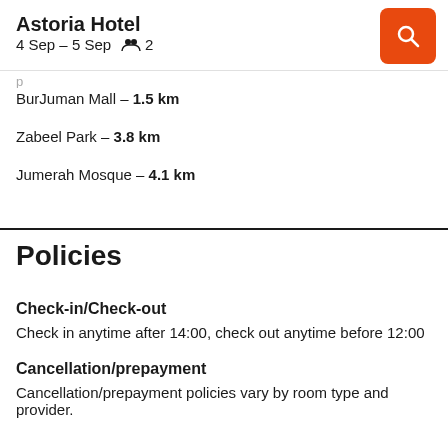Astoria Hotel
4 Sep – 5 Sep   👥 2
BurJuman Mall – 1.5 km
Zabeel Park – 3.8 km
Jumerah Mosque – 4.1 km
Policies
Check-in/Check-out
Check in anytime after 14:00, check out anytime before 12:00
Cancellation/prepayment
Cancellation/prepayment policies vary by room type and provider.